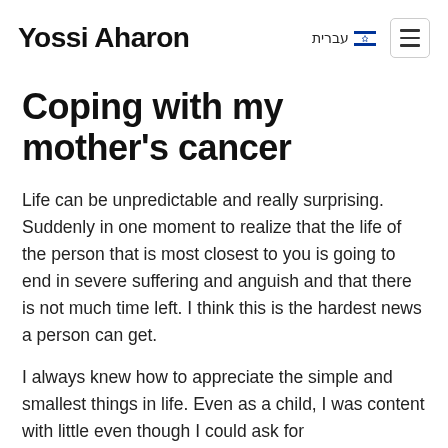Yossi Aharon
Coping with my mother's cancer
Life can be unpredictable and really surprising. Suddenly in one moment to realize that the life of the person that is most closest to you is going to end in severe suffering and anguish and that there is not much time left. I think this is the hardest news a person can get.
I always knew how to appreciate the simple and smallest things in life. Even as a child, I was content with little even though I could ask for